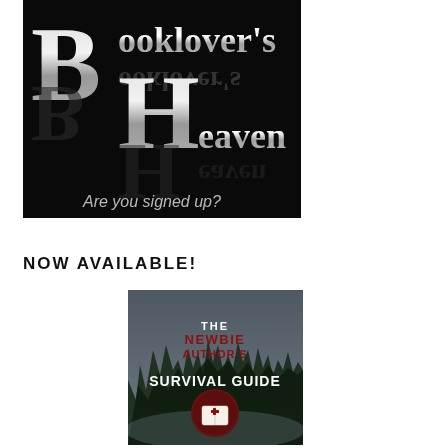[Figure (logo): Booklover's Heaven logo on black background with large stylized B and H letters, text 'Booklover's' and 'Heaven' in silver, with reflection effect and text 'Are you signed up?' at bottom]
NOW AVAILABLE!
[Figure (illustration): Book cover for 'The Newbie Author's Survival Guide' showing dark forest background with a medical cross book symbol in a dark red circular badge]